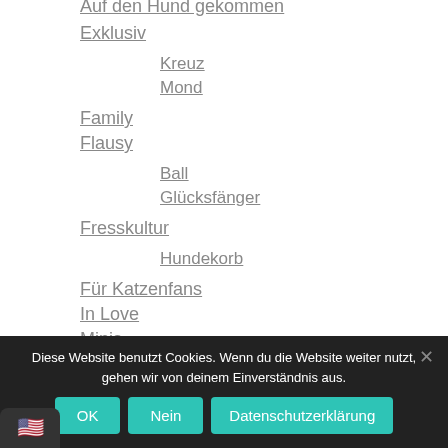Auf den Hund gekommen
Exklusiv
Kreuz
Mond
Family
Flausy
Ball
Glücksfänger
Fresskultur
Hundekorb
Für Katzenfans
In Love
Minis
Fiesta
Herz
Diese Website benutzt Cookies. Wenn du die Website weiter nutzt, gehen wir von deinem Einverständnis aus.